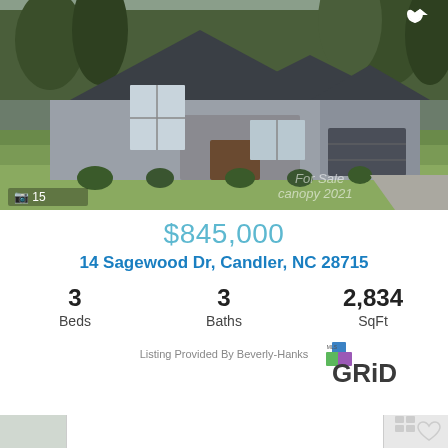[Figure (photo): Exterior photo of a craftsman-style single-story home with large gabled windows, stone accents, gray siding, and attached two-car garage. Trees in background, green lawn in foreground. Watermark: 'For Sale canopy 2021'. Photo count overlay: camera icon and '15'.]
$845,000
14 Sagewood Dr, Candler, NC 28715
3 Beds
3 Baths
2,834 SqFt
Listing Provided By Beverly-Hanks
[Figure (logo): MLS GRID logo with stacked colored squares icon and 'MLS GRiD' text]
[Figure (photo): Partially visible bottom card showing another property listing preview, white background with partial image visible]